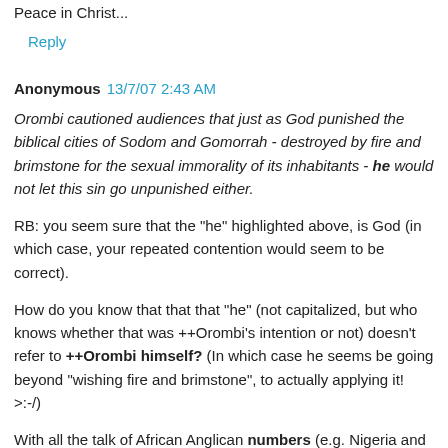Peace in Christ...
Reply
Anonymous  13/7/07 2:43 AM
Orombi cautioned audiences that just as God punished the biblical cities of Sodom and Gomorrah - destroyed by fire and brimstone for the sexual immorality of its inhabitants - he would not let this sin go unpunished either.
RB: you seem sure that the "he" highlighted above, is God (in which case, your repeated contention would seem to be correct).
How do you know that that that "he" (not capitalized, but who knows whether that was ++Orombi's intention or not) doesn't refer to ++Orombi himself? (In which case he seems be going beyond "wishing fire and brimstone", to actually applying it! >:-/)
With all the talk of African Anglican numbers (e.g. Nigeria and Uganda), I personally think that ++Orombi is used to 1)